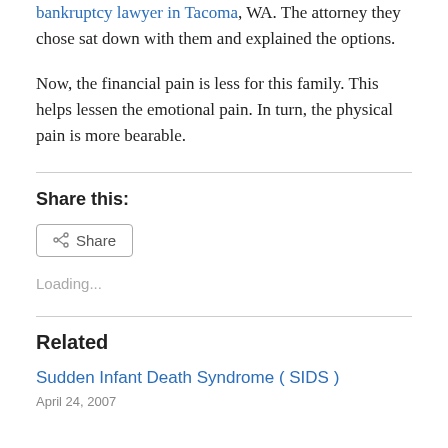bankruptcy lawyer in Tacoma, WA. The attorney they chose sat down with them and explained the options.
Now, the financial pain is less for this family. This helps lessen the emotional pain. In turn, the physical pain is more bearable.
Share this:
[Figure (other): Share button with share icon]
Loading...
Related
Sudden Infant Death Syndrome ( SIDS )
April 24, 2007